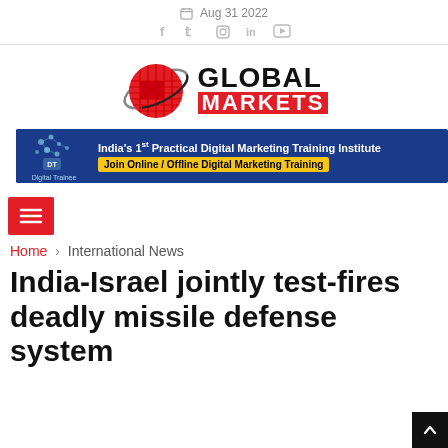Aug 31 2022
[Figure (logo): Global Markets logo with red globe and GLOBAL MARKETS text]
[Figure (infographic): Digital Trainee ad banner: India's 1st Practical Digital Marketing Training Institute - Join Online / Offline Digital Marketing Training]
[Figure (other): Hamburger menu button (red background with three white lines)]
Home > International News
India-Israel jointly test-fires deadly missile defense system